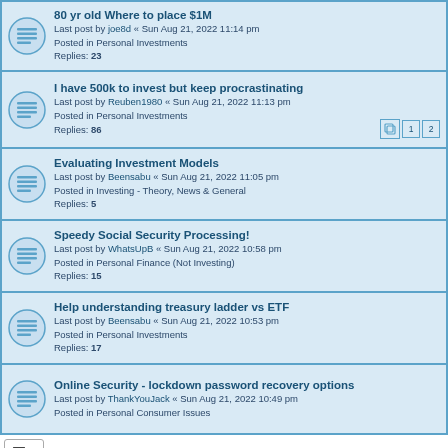80 yr old Where to place $1M
Last post by joe8d « Sun Aug 21, 2022 11:14 pm
Posted in Personal Investments
Replies: 23
I have 500k to invest but keep procrastinating
Last post by Reuben1980 « Sun Aug 21, 2022 11:13 pm
Posted in Personal Investments
Replies: 86
Evaluating Investment Models
Last post by Beensabu « Sun Aug 21, 2022 11:05 pm
Posted in Investing - Theory, News & General
Replies: 5
Speedy Social Security Processing!
Last post by WhatsUpB « Sun Aug 21, 2022 10:58 pm
Posted in Personal Finance (Not Investing)
Replies: 15
Help understanding treasury ladder vs ETF
Last post by Beensabu « Sun Aug 21, 2022 10:53 pm
Posted in Personal Investments
Replies: 17
Online Security - lockdown password recovery options
Last post by ThankYouJack « Sun Aug 21, 2022 10:49 pm
Posted in Personal Consumer Issues
Search found 803 matches
Page 1 2 3 4 5 ... 17